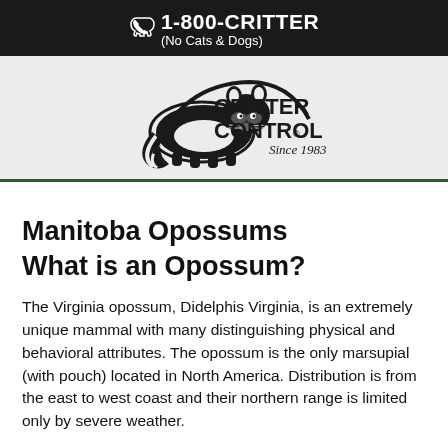1-800-CRITTER (No Cats & Dogs)
[Figure (logo): Critter Control logo with raccoon graphic and text 'Since 1983']
Manitoba Opossums
What is an Opossum?
The Virginia opossum, Didelphis Virginia, is an extremely unique mammal with many distinguishing physical and behavioral attributes. The opossum is the only marsupial (with pouch) located in North America. Distribution is from the east to west coast and their northern range is limited only by severe weather.
This animal is quite shy and inoffensive, but will